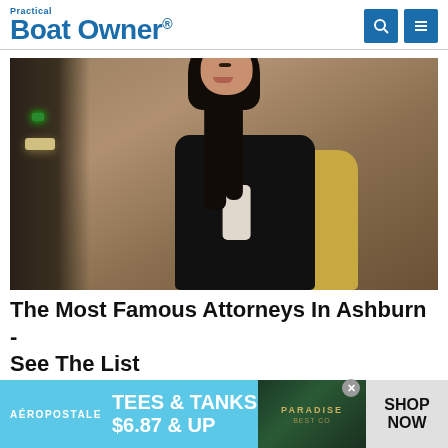Practical Boat Owner
[Figure (photo): Professional woman with long dark hair, smiling, seated in a chair, wearing a dark blazer over white top, photographed against a warm-toned background]
The Most Famous Attorneys In Ashburn - See The List
[Figure (infographic): Advertisement banner: Aéropostale - TEES & TANKS $6.87 & UP - SHOP NOW]